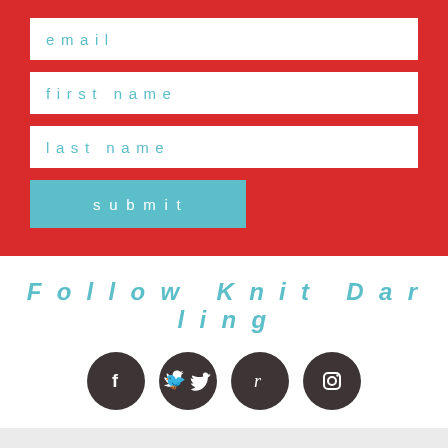email
first name
last name
submit
Follow Knit Darling
[Figure (illustration): Four dark circular social media icons: Facebook (f), Twitter (bird), Ravelry (r), Instagram (camera)]
home • about • support • press
© 2022 Alexis Winslow